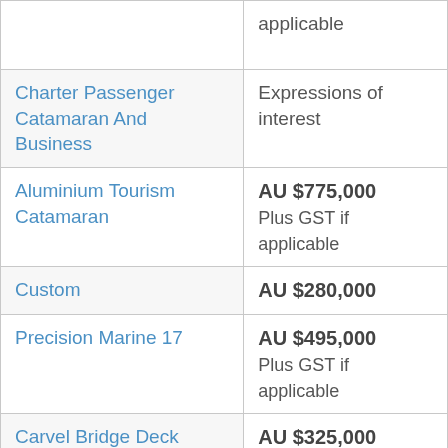| Vessel Type | Price |
| --- | --- |
| (continued row) | applicable |
| Charter Passenger Catamaran And Business | Expressions of interest |
| Aluminium Tourism Catamaran | AU $775,000
Plus GST if applicable |
| Custom | AU $280,000 |
| Precision Marine 17 | AU $495,000
Plus GST if applicable |
| Carvel Bridge Deck Cruiser | AU $325,000
Plus GST if applicable |
| Charter Fishing Vessel | AU $325,000 |